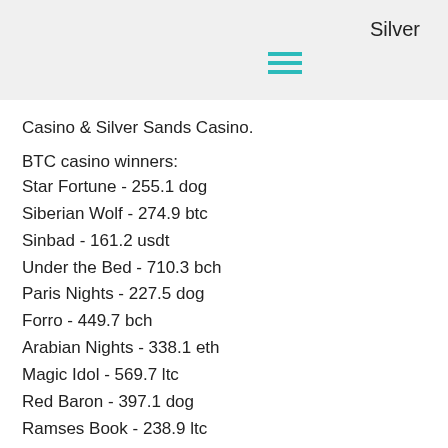Silver
Casino & Silver Sands Casino.
BTC casino winners:
Star Fortune - 255.1 dog
Siberian Wolf - 274.9 btc
Sinbad - 161.2 usdt
Under the Bed - 710.3 bch
Paris Nights - 227.5 dog
Forro - 449.7 bch
Arabian Nights - 338.1 eth
Magic Idol - 569.7 ltc
Red Baron - 397.1 dog
Ramses Book - 238.9 ltc
Panther Moon - 642.7 dog
Rock On - 665.2 dog
Sweet Life 2 - 703.5 ltc
Magician Dreaming - 439.3 bch
Power of Asia - 130.7 usdt